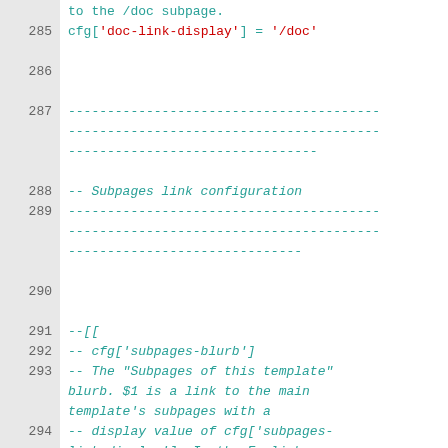[Figure (screenshot): Code editor screenshot showing Lua/configuration code with line numbers 285-294. Lines show cfg['doc-link-display'] assignment, comment separators, 'Subpages link configuration' comment, and cfg['subpages-blurb'] documentation block.]